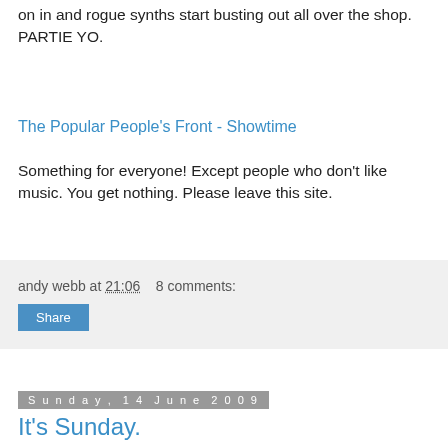on in and rogue synths start busting out all over the shop. PARTIE YO.
The Popular People's Front - Showtime
Something for everyone! Except people who don't like music. You get nothing. Please leave this site.
andy webb at 21:06   8 comments:
Share
Sunday, 14 June 2009
It's Sunday.
Bit of a post for the sake of posting here.. Need to try and get the post rate up, but don't want to compromise by sharing stuff that isn't A-grade. Anyway, this remix of Crazy P's latest